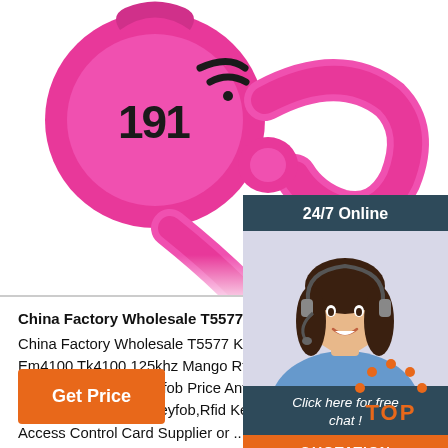[Figure (photo): Close-up photo of pink RFID keyfobs/tags with number 191 and wireless symbol visible]
[Figure (photo): Customer service agent woman with headset smiling, with 24/7 Online chat panel overlay]
China Factory Wholesale T5577 Keyfob Price Anti-M...
China Factory Wholesale T5577 Keyfob Price Anti-metal Uhf Em Marin Tag Em4102 Em4100 Tk4100 125khz Mango Rfid Keyfob, Find Complete Details about China Factory Wholesale T5577 Keyfob Price Anti-metal Uhf Em Marin Tag Em4102 Em4100 Tk4100 125khz Mango Rfid Keyfob,Rfid Key Fob,125khz Rfid Key Fob,Mango Key Fob from Access Control Card Supplier or ...
[Figure (logo): TOP badge logo with orange dots arranged in arch above orange TOP text]
Get Price